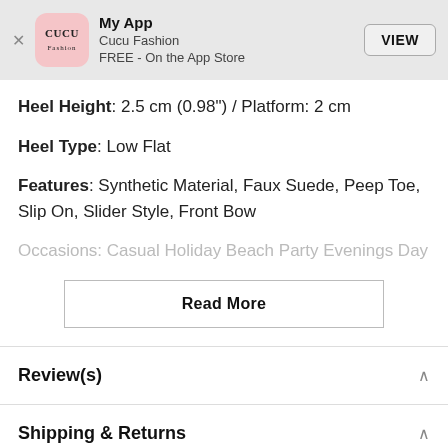[Figure (screenshot): App Store banner for 'My App' by Cucu Fashion, FREE on the App Store, with a VIEW button]
Heel Height: 2.5 cm (0.98") / Platform: 2 cm
Heel Type: Low Flat
Features: Synthetic Material, Faux Suede, Peep Toe, Slip On, Slider Style, Front Bow
Occasions: Casual Holiday Beach Party Evenings Day
Read More
Review(s)
Shipping & Returns